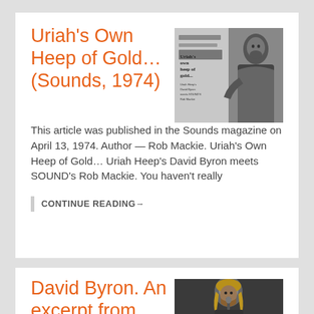Uriah's Own Heep of Gold… (Sounds, 1974)
[Figure (photo): Black and white newspaper clipping showing a person with text 'Uriah's own heep of gold...' and subtitle about Uriah Heep's David Byron meets SOUNDS Rob Mackie]
This article was published in the Sounds magazine on April 13, 1974. Author — Rob Mackie. Uriah's Own Heep of Gold… Uriah Heep's David Byron meets SOUND's Rob Mackie. You haven't really
CONTINUE READING→
David Byron. An excerpt from Bron
[Figure (photo): Color photo of David Byron, a man with long blonde hair looking up slightly]